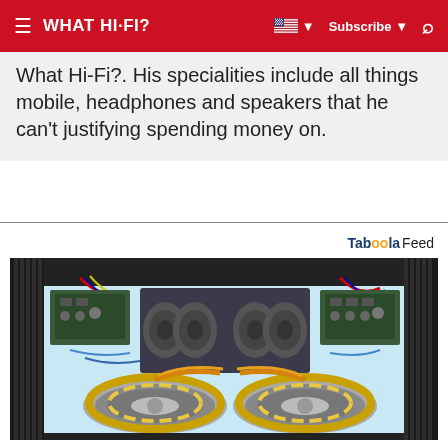WHAT HI-FI? | Subscribe | Search
What Hi-Fi?. His specialities include all things mobile, headphones and speakers that he can't justifying spending money on.
Tab00la Feed
[Figure (photo): Interior view of a high-end audio amplifier showing two large toroidal transformers, capacitor banks, wiring, and heat sinks on a light blue background.]